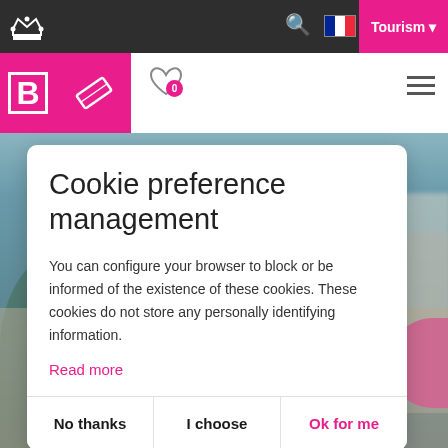Tourism
[Figure (screenshot): Website header with dark navigation bar showing search icon, French flag, Tourism button in pink, secondary white nav bar with pink B logo, pink ticket icon, heart icon with 0 badge, and hamburger menu]
Cookie preference management
You can configure your browser to block or be informed of the existence of these cookies. These cookies do not store any personally identifying information.
Read more
No thanks
I choose
Ok for me